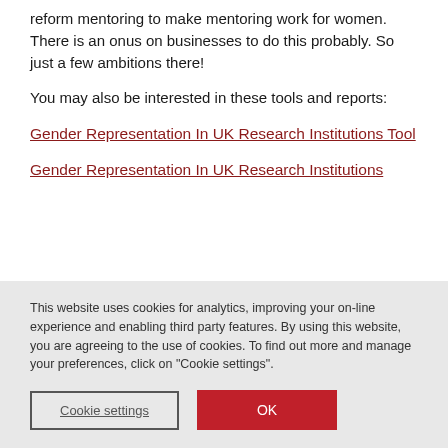reform mentoring to make mentoring work for women. There is an onus on businesses to do this probably. So just a few ambitions there!
You may also be interested in these tools and reports:
Gender Representation In UK Research Institutions Tool
Gender Representation In UK Research Institutions
This website uses cookies for analytics, improving your on-line experience and enabling third party features. By using this website, you are agreeing to the use of cookies. To find out more and manage your preferences, click on “Cookie settings”.
Cookie settings
OK